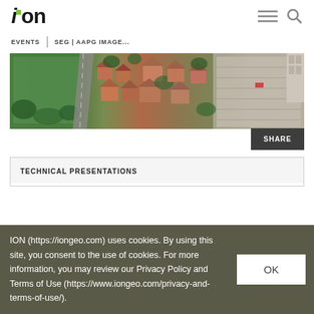ION
EVENTS | SEG | AAPG IMAGE...
[Figure (photo): Aerial view of a suburban neighborhood with green park on left, residential streets and houses in center, and commercial/parking area on right]
TECHNICAL PRESENTATIONS
ION (https://iongeo.com) uses cookies. By using this site, you consent to the use of cookies. For more information, you may review our Privacy Policy and Terms of Use (https://www.iongeo.com/privacy-and-terms-of-use/).